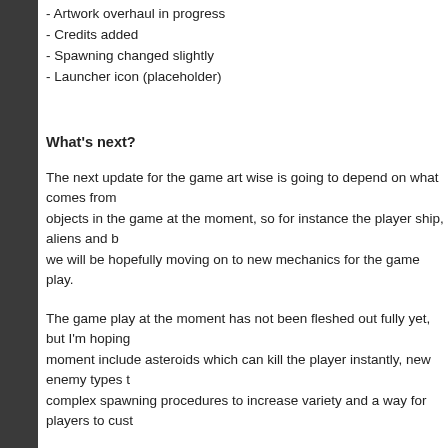- Artwork overhaul in progress
- Credits added
- Spawning changed slightly
- Launcher icon (placeholder)
What's next?
The next update for the game art wise is going to depend on what comes from objects in the game at the moment, so for instance the player ship, aliens and b we will be hopefully moving on to new mechanics for the game play.
The game play at the moment has not been fleshed out fully yet, but I'm hoping moment include asteroids which can kill the player instantly, new enemy types t complex spawning procedures to increase variety and a way for players to cust
Outside of game play and art, the next update will delve into player scoring and testing a way to save total kills and deaths of the player to see how well they do scores. The bigger picture for this system is to provide achievements/customisa I've been an Xbox owner for years and I've always liked how achievements hav tying achievements to player ship skins as a reward for doing well. To give an e killed, the player will be rewarded with a different ship skin.
Like always, any and all feedback is appreciated.